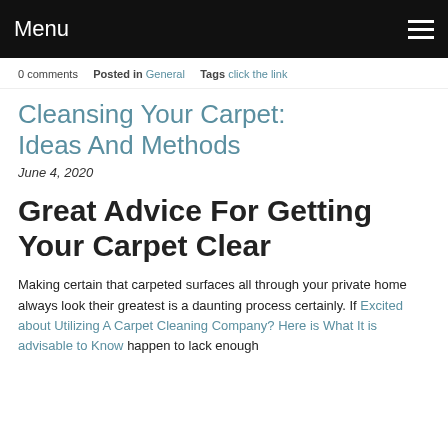Menu
0 comments   Posted in General   Tags click the link
Cleansing Your Carpet: Ideas And Methods
June 4, 2020
Great Advice For Getting Your Carpet Clear
Making certain that carpeted surfaces all through your private home always look their greatest is a daunting process certainly. If Excited about Utilizing A Carpet Cleaning Company? Here is What It is advisable to Know happen to lack enough